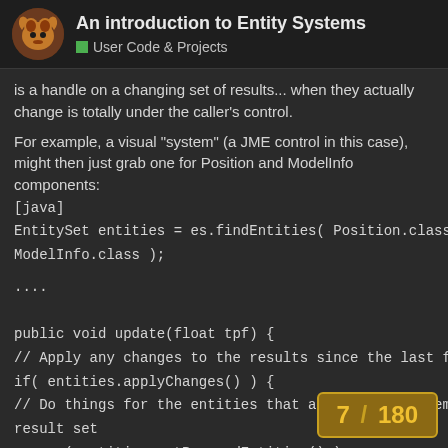An introduction to Entity Systems — User Code & Projects
is a handle on a changing set of results... when they actually change is totally under the caller's control.
For example, a visual "system" (a JME control in this case), might then just grab one for Position and ModelInfo components:
[java]
EntitySet entities = es.findEntities( Position.class, ModelInfo.class );
....

public void update(float tpf) {
// Apply any changes to the results since the last frame
if( entities.applyChanges() ) {
// Do things for the entities that are no longer members of the result set
remove( entities.getRemovedEntities() );
7 / 180